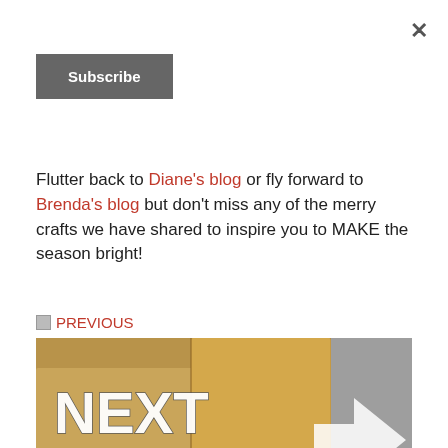×
Subscribe
Flutter back to Diane's blog or fly forward to Brenda's blog but don't miss any of the merry crafts we have shared to inspire you to MAKE the season bright!
◀ PREVIOUS
[Figure (photo): Image showing 'NEXT BLOG' text overlaid on kraft paper gift boxes with a Stampin' Up! label, with a large white arrow pointing right.]